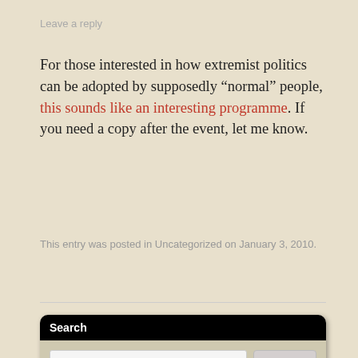Leave a reply
For those interested in how extremist politics can be adopted by supposedly “normal” people, this sounds like an interesting programme. If you need a copy after the event, let me know.
This entry was posted in Uncategorized on January 3, 2010.
Search